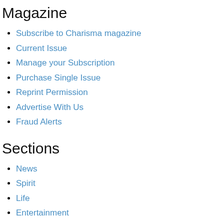Magazine
Subscribe to Charisma magazine
Current Issue
Manage your Subscription
Purchase Single Issue
Reprint Permission
Advertise With Us
Fraud Alerts
Sections
News
Spirit
Life
Entertainment
Media
Blogs
Newsletters
About
About Charisma Media